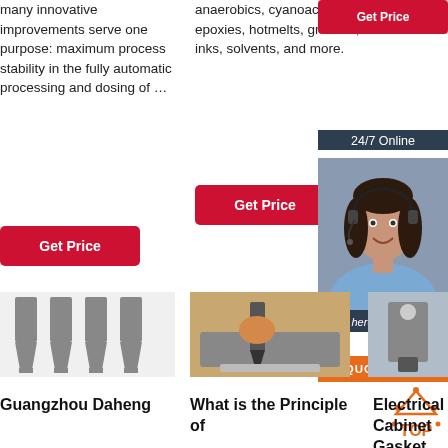many innovative improvements serve one purpose: maximum process stability in the fully automatic processing and dosing of …
[Figure (other): Red 'Get Price' button, column 1]
anaerobics, cyanoacrylates, epoxies, hotmelts, greases, inks, solvents, and more.
[Figure (other): Red 'Get Price' button, column 2]
[Figure (other): Red 'Get Price' button, top right sidebar]
[Figure (other): 24/7 Online chat agent photo with woman wearing headset]
Click here for free chat !
[Figure (other): Orange QUOTATION button]
[Figure (photo): Row of grey industrial dispensing nozzles/tips]
[Figure (photo): Close-up of dispensing machine applying adhesive to a product]
[Figure (other): Industrial machine thumbnail on right]
[Figure (other): Orange TOP icon with dots]
Guangzhou Daheng
What is the Principle of
Electrical Cabinet Gasket